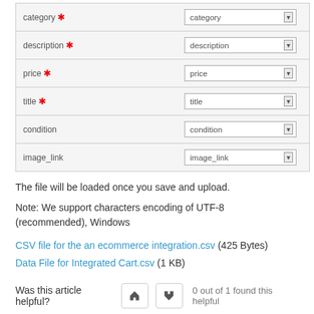| Field | Dropdown |
| --- | --- |
| category * | category |
| description * | description |
| price * | price |
| title * | title |
| condition | condition |
| image_link | image_link |
The file will be loaded once you save and upload.
Note: We support characters encoding of UTF-8 (recommended), Windows
CSV file for the an ecommerce integration.csv (425 Bytes)
Data File for Integrated Cart.csv (1 KB)
Was this article helpful? 0 out of 1 found this helpful
Have more questions? Submit a request